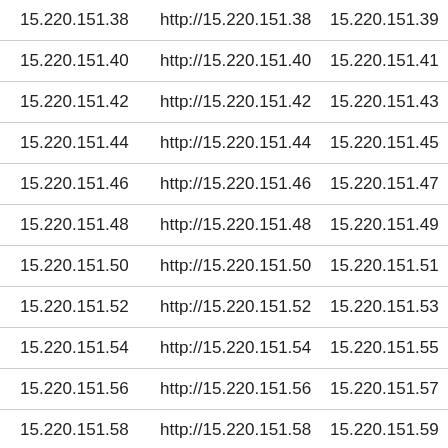| 15.220.151.38 | http://15.220.151.38 | 15.220.151.39 | http:// |
| 15.220.151.40 | http://15.220.151.40 | 15.220.151.41 | http:// |
| 15.220.151.42 | http://15.220.151.42 | 15.220.151.43 | http:// |
| 15.220.151.44 | http://15.220.151.44 | 15.220.151.45 | http:// |
| 15.220.151.46 | http://15.220.151.46 | 15.220.151.47 | http:// |
| 15.220.151.48 | http://15.220.151.48 | 15.220.151.49 | http:// |
| 15.220.151.50 | http://15.220.151.50 | 15.220.151.51 | http:// |
| 15.220.151.52 | http://15.220.151.52 | 15.220.151.53 | http:// |
| 15.220.151.54 | http://15.220.151.54 | 15.220.151.55 | http:// |
| 15.220.151.56 | http://15.220.151.56 | 15.220.151.57 | http:// |
| 15.220.151.58 | http://15.220.151.58 | 15.220.151.59 | http:// |
| 15.220.151.60 | http://15.220.151.60 | 15.220.151.61 | http:// |
| 15.220.151.62 | http://15.220.151.62 | 15.220.151.63 | http:// |